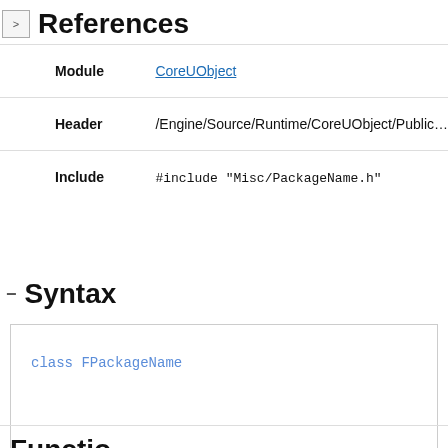References
| Label | Value |
| --- | --- |
| Module | CoreUObject |
| Header | /Engine/Source/Runtime/CoreUObject/Public… |
| Include | #include "Misc/PackageName.h" |
Syntax
class FPackageName
Functions